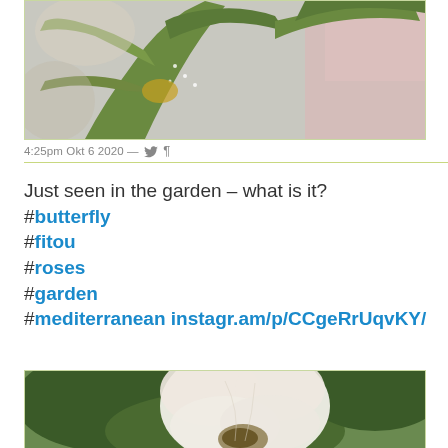[Figure (photo): Close-up photo of a praying mantis on a plant stem, green coloring, blurred background]
4:25pm Okt 6 2020 — 🐦 ¶
Just seen in the garden – what is it?
#butterfly
#fitou
#roses
#garden
#mediterranean instagr.am/p/CCgeRrUqvKY/
[Figure (photo): Close-up photo of a white flower with green leaves in the background]